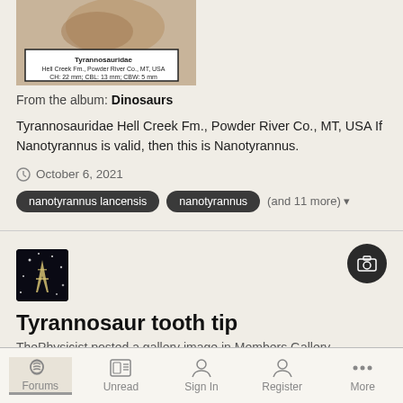[Figure (photo): Fossil specimen photo with label showing Tyrannosauridae, Hell Creek Fm., Powder River Co., MT, USA, CH: 22 mm; CBL: 13 mm; CBW: 5 mm]
From the album: Dinosaurs
Tyrannosauridae Hell Creek Fm., Powder River Co., MT, USA If Nanotyrannus is valid, then this is Nanotyrannus.
October 6, 2021
nanotyrannus lancensis  nanotyrannus  (and 11 more)
[Figure (photo): User avatar with galaxy/stars background and Eiffel Tower silhouette]
Tyrannosaur tooth tip
ThePhysicist posted a gallery image in Members Gallery
Forums  Unread  Sign In  Register  More